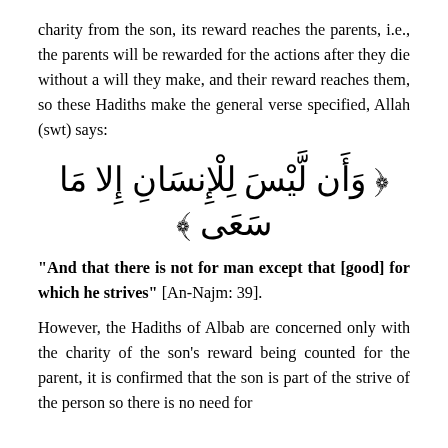charity from the son, its reward reaches the parents, i.e., the parents will be rewarded for the actions after they die without a will they make, and their reward reaches them, so these Hadiths make the general verse specified, Allah (swt) says:
وَأَن لَّيْسَ لِلْإِنسَانِ إِلا مَا سَعَى
"And that there is not for man except that [good] for which he strives" [An-Najm: 39].
However, the Hadiths of Albab are concerned only with the charity of the son's reward being counted for the parent, it is confirmed that the son is part of the strive of the person so there is no need for